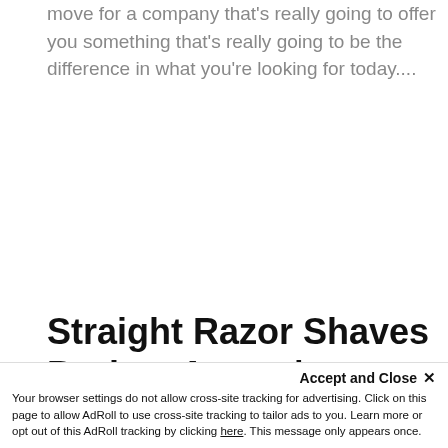move for a company that's really going to offer you something that's really going to be the difference in what you're looking for today....
Straight Razor Shaves Broken Arrow | Needing A Shave?
Accept and Close ×
Your browser settings do not allow cross-site tracking for advertising. Click on this page to allow AdRoll to use cross-site tracking to tailor ads to you. Learn more or opt out of this AdRoll tracking by clicking here. This message only appears once.